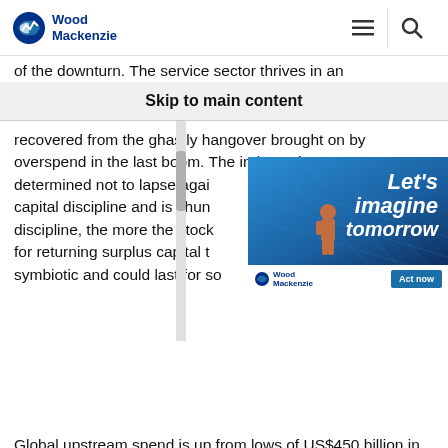Wood Mackenzie
Skip to main content
recovered from the ghastly hangover brought on by overspend in the last boom. The industry is determined not to lapse again is capital discipline and is shunning discipline, the more the stock m for returning surplus capital t s symbiotic and could last for so
[Figure (photo): Wood Mackenzie advertisement with 'Let's imagine tomorrow' text over a photo of a worker on solar panels, with Act now button]
Global upstream spend is up from lows of US$450 billion in 2016 and 2017, having collapsed from the 2014 peak of US$750 billion. But not by much. We think spend will recover to over US$500 billion by 2020, driven by the US L48, a flurry of deepwater projects and a new phase of LNG investment. It's a